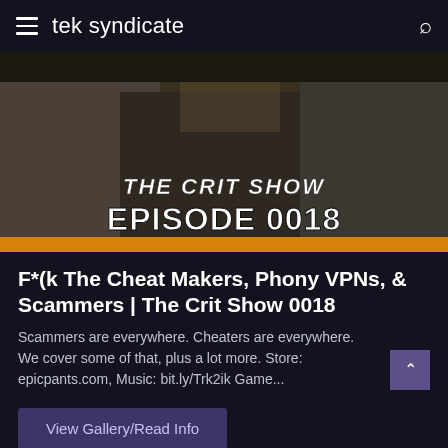tek syndicate
[Figure (photo): Thumbnail image showing three people giving the middle finger with text overlay 'THE CRIT SHOW EPISODE 0018' in bold stylized white font on a dark background with an orange bar at the bottom.]
F*(k The Cheat Makers, Phony VPNs, & Scammers | The Crit Show 0018
Scammers are everywhere. Cheaters are everywhere. We cover some of that, plus a lot more. Store: epicpants.com, Music: bit.ly/Trk2ik Game...
View Gallery/Read Info